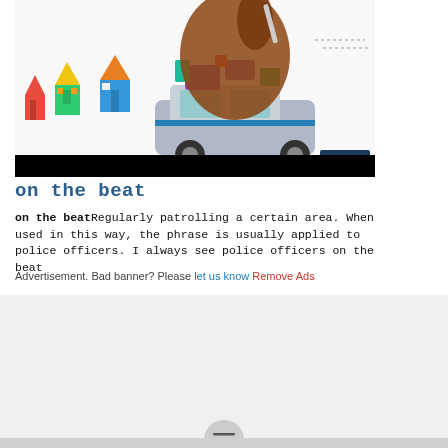[Figure (illustration): A hand drawing an illustration of colorful cartoon houses and a police car loaded with luggage on its roof, with the Farlex logo in the bottom right of the image. A black bar appears at the bottom of the illustration area.]
on the beat
on the beatRegularly patrolling a certain area. When used in this way, the phrase is usually applied to police officers. I always see police officers on the beat
Advertisement. Bad banner? Please let us know Remove Ads
Financial browser
Local Authority Stock
local content rule
Local expectations hypothesis
Local expectations theory
Local Government Area
▶ Local government areas
Local Hire